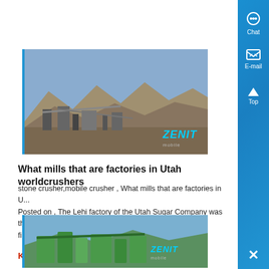[Figure (photo): Zenit branded mining/crushing facility with mountainous terrain background, labeled ZENIT]
What mills that are factories in Utah worldcrushers
stone crusher,mobile crusher , What mills that are factories in U... Posted on , The Lehi factory of the Utah Sugar Company was th... first beet sugar factory ....
Know More
[Figure (photo): Zenit branded green crushing/screening equipment facility, labeled ZENIT]